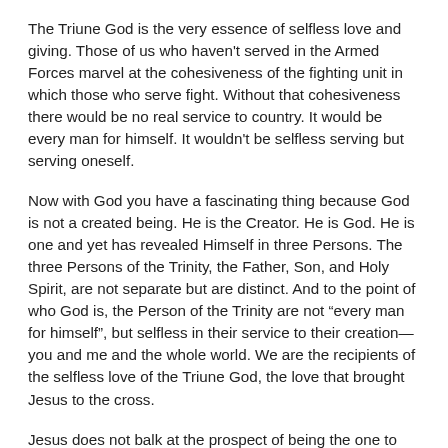The Triune God is the very essence of selfless love and giving. Those of us who haven't served in the Armed Forces marvel at the cohesiveness of the fighting unit in which those who serve fight. Without that cohesiveness there would be no real service to country. It would be every man for himself. It wouldn't be selfless serving but serving oneself.
Now with God you have a fascinating thing because God is not a created being. He is the Creator. He is God. He is one and yet has revealed Himself in three Persons. The three Persons of the Trinity, the Father, Son, and Holy Spirit, are not separate but are distinct. And to the point of who God is, the Person of the Trinity are not “every man for himself”, but selfless in their service to their creation—you and me and the whole world. We are the recipients of the selfless love of the Triune God, the love that brought Jesus to the cross.
Jesus does not balk at the prospect of being the one to become a man. Of being the one to suffer and die. The Holy Spirit does not have sour grapes that He is the one who is sent as merely a helper. The Father Himself does not shy away from the agony of giving over His only-begotten Son to